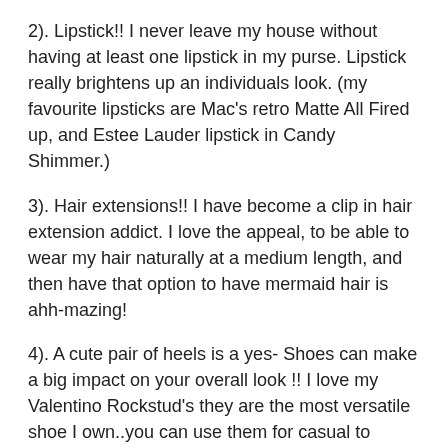2). Lipstick!! I never leave my house without having at least one lipstick in my purse. Lipstick really brightens up an individuals look. (my favourite lipsticks are Mac's retro Matte All Fired up, and Estee Lauder lipstick in Candy Shimmer.)
3). Hair extensions!! I have become a clip in hair extension addict. I love the appeal, to be able to wear my hair naturally at a medium length, and then have that option to have mermaid hair is ahh-mazing!
4). A cute pair of heels is a yes- Shoes can make a big impact on your overall look !! I love my Valentino Rockstud's they are the most versatile shoe I own..you can use them for casual to dressier events, and I find them to be iconic. And make sure you choose an offbeat colour with this shoe..because there are too many red and poudre rockstuds out there.
5). Ear Cuffs. I'm obsessed with ear cuffs- they can turn your look into d...